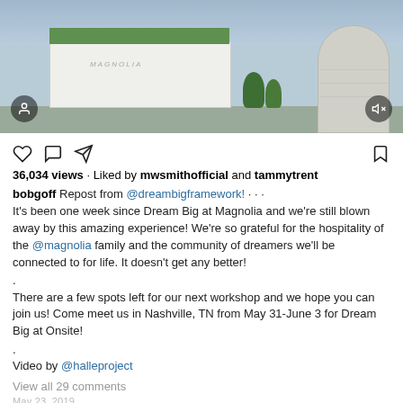[Figure (photo): Aerial view of the Magnolia building with green roof and a large silo structure, social media video screenshot with user icon and mute icon overlaid]
36,034 views · Liked by mwsmithofficial and tammytrent
bobgoff Repost from @dreambigframework! · · · It's been one week since Dream Big at Magnolia and we're still blown away by this amazing experience! We're so grateful for the hospitality of the @magnolia family and the community of dreamers we'll be connected to for life. It doesn't get any better!

.
There are a few spots left for our next workshop and we hope you can join us! Come meet us in Nashville, TN from May 31-June 3 for Dream Big at Onsite!

.
Video by @halleproject
View all 29 comments
May 23, 2019